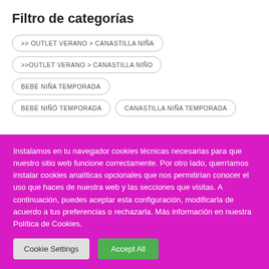Filtro de categorías
>> OUTLET VERANO > CANASTILLA NIÑA
>>OUTLET VERANO > CANASTILLA NIÑO
BEBÉ NIÑA TEMPORADA
BEBÉ NIÑÓ TEMPORADA
CANASTILLA NIÑA TEMPORADA
Instalamos en tu navegador cookies técnicas necesarias para que nuestro sitio web funcione correctamente. Por otro lado, querríamos instalar cookies analíticas opcionales que nos permitirían conocer el uso que haces de nuestra web y las secciones que visitas. A continuación, puedes aceptar esta configuración, modificarla de acuerdo a tus preferencias o rechazarla. Más información en nuestra Política de Cookies.
Cookie Settings
Accept All